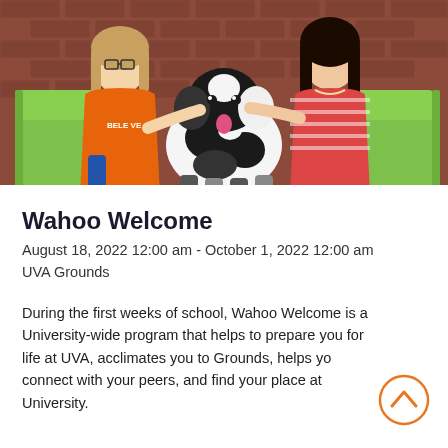[Figure (photo): Two young women sitting in green Adirondack chairs outdoors against a brick wall background, petting a black and white fluffy dog between them. The woman on the left wears an orange t-shirt that says BELIEVE and glasses; the woman on the right wears a red and white striped top.]
Wahoo Welcome
August 18, 2022 12:00 am - October 1, 2022 12:00 am
UVA Grounds
During the first weeks of school, Wahoo Welcome is a University-wide program that helps to prepare you for life at UVA, acclimates you to Grounds, helps you connect with your peers, and find your place at the University.